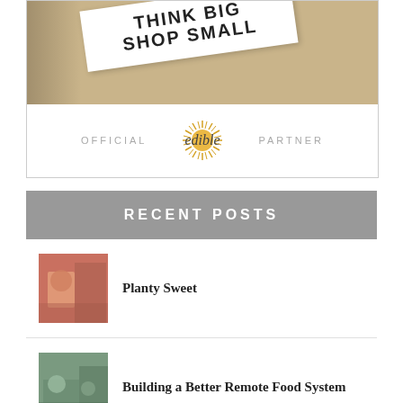[Figure (photo): Advertisement image: Top half shows a sign reading 'THINK BIG SHOP SMALL' against a textured background. Bottom half shows 'OFFICIAL edible PARTNER' branding with a sunburst logo.]
RECENT POSTS
[Figure (photo): Thumbnail photo of a person in a shop setting, related to 'Planty Sweet' post.]
Planty Sweet
[Figure (photo): Thumbnail photo of people in what appears to be a food-related setting, related to 'Building a Better Remote Food System' post.]
Building a Better Remote Food System